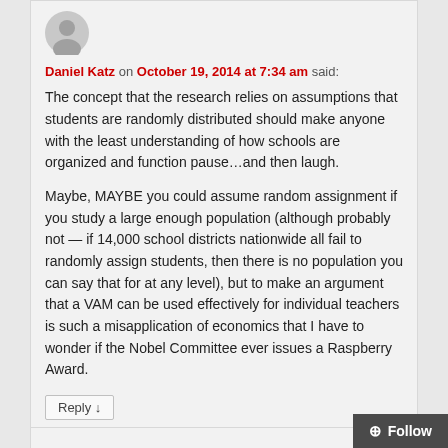[Figure (illustration): User avatar silhouette, gray circle with person outline]
Daniel Katz on October 19, 2014 at 7:34 am said:
The concept that the research relies on assumptions that students are randomly distributed should make anyone with the least understanding of how schools are organized and function pause…and then laugh.

Maybe, MAYBE you could assume random assignment if you study a large enough population (although probably not — if 14,000 school districts nationwide all fail to randomly assign students, then there is no population you can say that for at any level), but to make an argument that a VAM can be used effectively for individual teachers is such a misapplication of economics that I have to wonder if the Nobel Committee ever issues a Raspberry Award.
Reply ↓
+ Follow